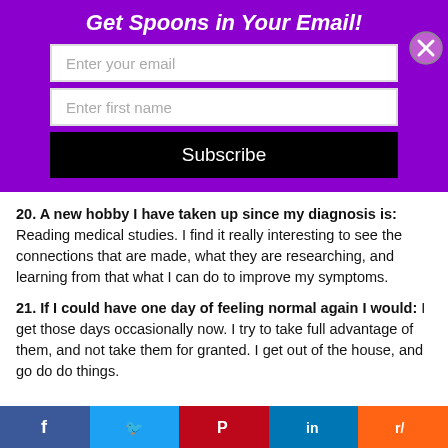Get Spoons in Your Email!
[Figure (infographic): Email subscription form with two input fields (Enter your email, Enter first name) and a Subscribe button on a purple background, with a close (X) button on the right]
20. A new hobby I have taken up since my diagnosis is: Reading medical studies. I find it really interesting to see the connections that are made, what they are researching, and learning from that what I can do to improve my symptoms.
21. If I could have one day of feeling normal again I would: I get those days occasionally now. I try to take full advantage of them, and not take them for granted. I get out of the house, and go do do things.
[Figure (infographic): Social sharing bar with Facebook, Twitter, Pinterest, LinkedIn, and Reddit buttons]